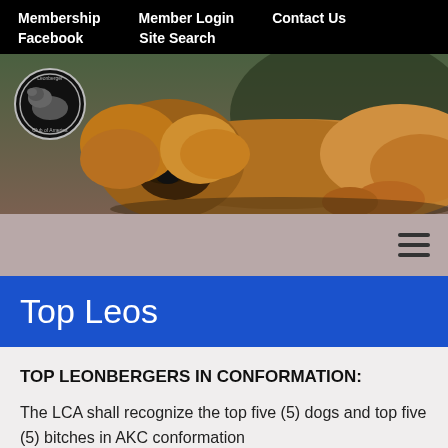Membership   Member Login   Contact Us   Facebook   Site Search
[Figure (photo): A large Leonberger dog lying down, with a circular club logo overlay in the top-left corner. Dog has golden-brown fur with dark muzzle.]
Top Leos
TOP LEONBERGERS IN CONFORMATION:
The LCA shall recognize the top five (5) dogs and top five (5) bitches in AKC conformation